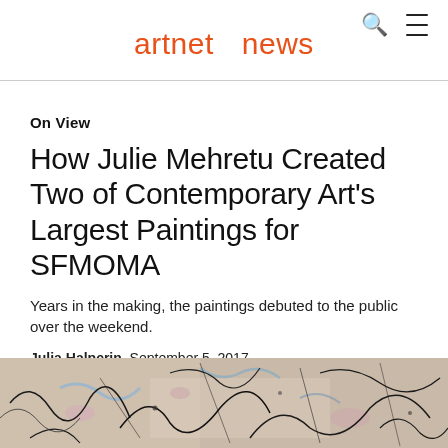artnet news
On View
How Julie Mehretu Created Two of Contemporary Art's Largest Paintings for SFMOMA
Years in the making, the paintings debuted to the public over the weekend.
Julia Halperin, September 5, 2017
[Figure (photo): Partial view of a large colorful painting with energetic black line scribbles over a light background with blue and pink marks, characteristic of Julie Mehretu's style.]